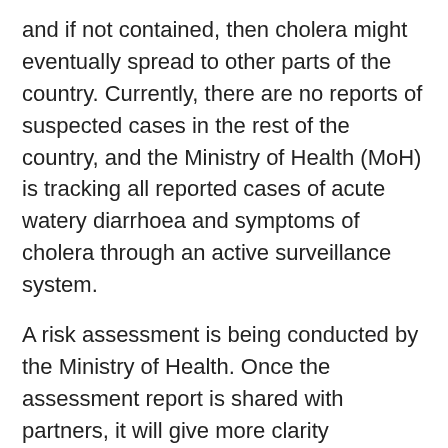and if not contained, then cholera might eventually spread to other parts of the country. Currently, there are no reports of suspected cases in the rest of the country, and the Ministry of Health (MoH) is tracking all reported cases of acute watery diarrhoea and symptoms of cholera through an active surveillance system.
A risk assessment is being conducted by the Ministry of Health. Once the assessment report is shared with partners, it will give more clarity regarding the situation and gaps in the response strategy. Meanwhile, the MoH has put in place systems for the response. Regional and district multi-sectoral response plans are being completed; these will be shared with relevant stakeholders after approval.
Tanzania still faces challenges to attain universal access to safe and clean drinking water, along with inadequate sanitation, particularly in unplanned settlements along the lake shores and along other settlements along the...